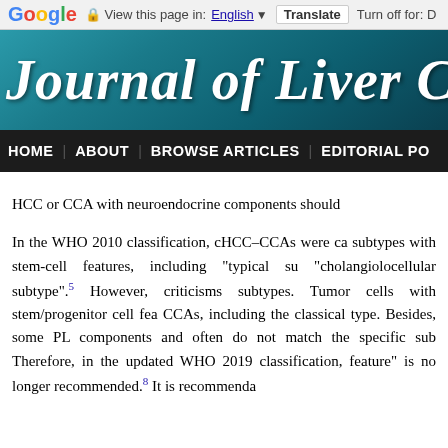Google  View this page in: English [▼]  Translate  Turn off for: D
[Figure (other): Journal of Liver Cancer banner header with teal/dark blue gradient background]
HOME | ABOUT | BROWSE ARTICLES | EDITORIAL PO
HCC or CCA with neuroendocrine components should
In the WHO 2010 classification, cHCC-CCAs were ca subtypes with stem-cell features, including "typical su "cholangiolocellular subtype".5 However, criticisms subtypes. Tumor cells with stem/progenitor cell fea CCAs, including the classical type. Besides, some PL components and often do not match the specific sub Therefore, in the updated WHO 2019 classification, feature" is no longer recommended.8 It is recommenda